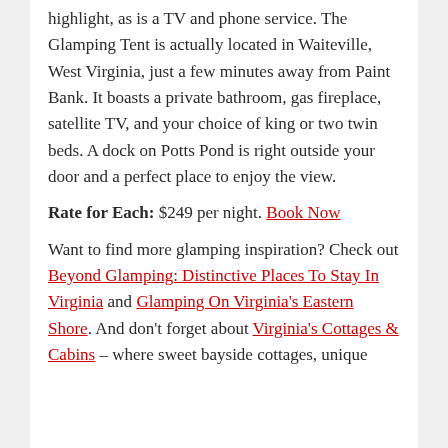highlight, as is a TV and phone service. The Glamping Tent is actually located in Waiteville, West Virginia, just a few minutes away from Paint Bank. It boasts a private bathroom, gas fireplace, satellite TV, and your choice of king or two twin beds. A dock on Potts Pond is right outside your door and a perfect place to enjoy the view.
Rate for Each: $249 per night. Book Now
Want to find more glamping inspiration? Check out Beyond Glamping: Distinctive Places To Stay In Virginia and Glamping On Virginia's Eastern Shore. And don't forget about Virginia's Cottages & Cabins – where sweet bayside cottages, unique